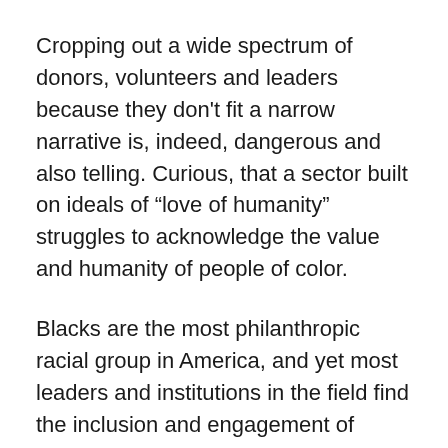Cropping out a wide spectrum of donors, volunteers and leaders because they don't fit a narrow narrative is, indeed, dangerous and also telling. Curious, that a sector built on ideals of “love of humanity” struggles to acknowledge the value and humanity of people of color.
Blacks are the most philanthropic racial group in America, and yet most leaders and institutions in the field find the inclusion and engagement of Black people optional or, sadly, debatable. Contemporary issues and communities are too complex to dismiss swaths of givers, seasoned activists and prospective allies. Re-imagining American philanthropy and bringing about change in today’s world requires shifts in perspective, motivation and approach. To fail to do so is to squander an opportunity to bridge historical gaps and transform lives and communities for